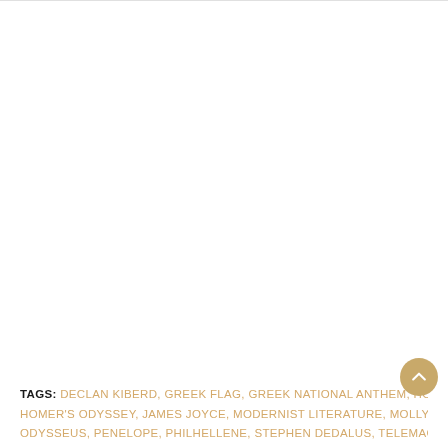TAGS: DECLAN KIBERD, GREEK FLAG, GREEK NATIONAL ANTHEM, HOMER, HOMER'S ODYSSEY, JAMES JOYCE, MODERNIST LITERATURE, MOLLY BLOOM, ODYSSEUS, PENELOPE, PHILHELLENE, STEPHEN DEDALUS, TELEMACHUS